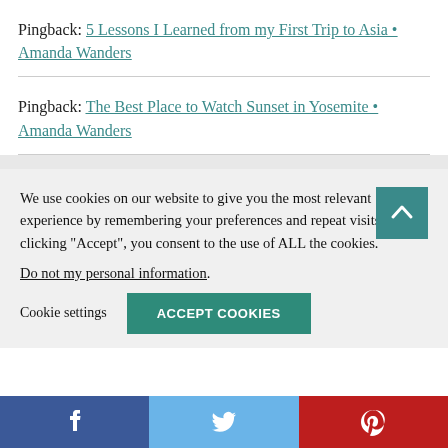Pingback: 5 Lessons I Learned from my First Trip to Asia • Amanda Wanders
Pingback: The Best Place to Watch Sunset in Yosemite • Amanda Wanders
We use cookies on our website to give you the most relevant experience by remembering your preferences and repeat visits. By clicking “Accept”, you consent to the use of ALL the cookies.
Do not my personal information.
Cookie settings
ACCEPT COOKIES